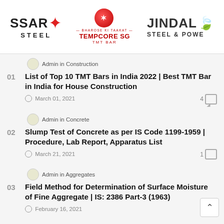[Figure (logo): Three brand logos: SSAR STEEL, TEMPCORE SG TMT BAR, and JINDAL STEEL & POWER]
Admin in Construction
List of Top 10 TMT Bars in India 2022 | Best TMT Bar in India for House Construction
March 01, 2021
Admin in Concrete
Slump Test of Concrete as per IS Code 1199-1959 | Procedure, Lab Report, Apparatus List
March 21, 2021
Admin in Aggregates
Field Method for Determination of Surface Moisture of Fine Aggregate | IS: 2386 Part-3 (1963)
February 16, 2021